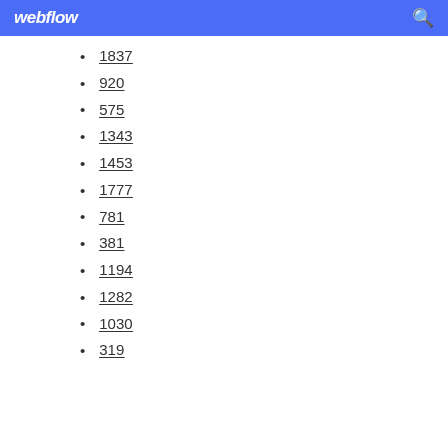webflow
1837
920
575
1343
1453
1777
781
381
1194
1282
1030
319